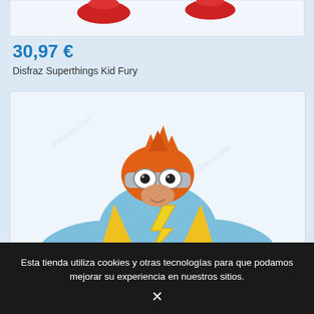[Figure (photo): Partial view of a Superthings Kid Fury costume showing red shoes at the top of the page]
30,97 €
Disfraz Superthings Kid Fury
[Figure (photo): Child wearing Superthings Kid Fury costume - light blue superhero suit with yellow lightning bolt, orange fish-head helmet with goggles, and yellow cape]
Esta tienda utiliza cookies y otras tecnologías para que podamos mejorar su experiencia en nuestros sitios.